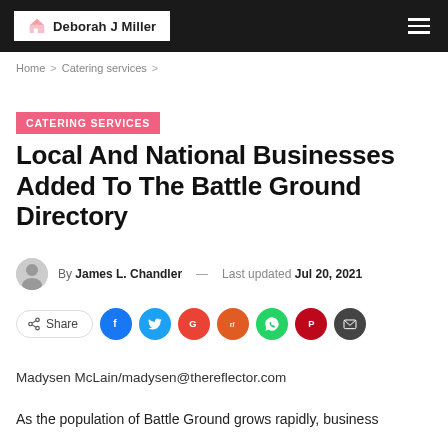Deborah J Miller
Home > Catering services >
CATERING SERVICES
Local And National Businesses Added To The Battle Ground Directory
By James L. Chandler — Last updated Jul 20, 2021
Share
Madysen McLain/madysen@thereflector.com
As the population of Battle Ground grows rapidly, business